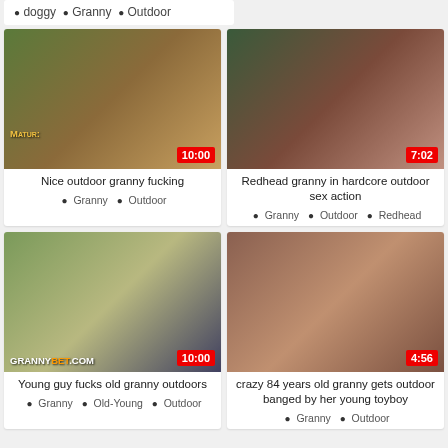• doggy  • Granny  • Outdoor
[Figure (photo): Outdoor granny sex scene thumbnail, duration 10:00]
[Figure (photo): Redhead granny oral sex scene thumbnail, duration 7:02]
Nice outdoor granny fucking
• Granny  • Outdoor
Redhead granny in hardcore outdoor sex action
• Granny  • Outdoor  • Redhead
[Figure (photo): Young guy and old granny next to car outdoors thumbnail, duration 10:00, GRANNYBET.COM watermark]
[Figure (photo): Close-up outdoor sex scene thumbnail, duration 4:56]
Young guy fucks old granny outdoors
• Granny  • Old-Young  • Outdoor
crazy 84 years old granny gets outdoor banged by her young toyboy
• Granny  • Outdoor